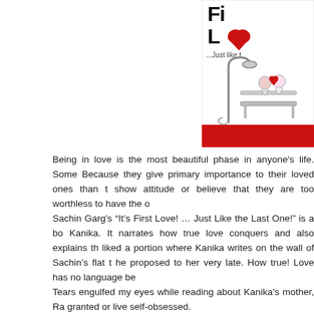[Figure (illustration): Book cover for 'It's First Love! ...Just Like the Last One!' showing stylized text with a red heart, and a cartoon illustration of a couple sitting on a bench under a lamp post, with a red stripe at the bottom.]
Being in love is the most beautiful phase in anyone's life. Some Because they give primary importance to their loved ones than t show attitude or believe that they are too worthless to have the o
Sachin Garg's “It’s First Love! … Just Like the Last One!” is a bo Kanika. It narrates how true love conquers and also explains th liked a portion where Kanika writes on the wall of Sachin’s flat t he proposed to her very late. How true! Love has no language be
Tears engulfed my eyes while reading about Kanika’s mother, Ra granted or live self-obsessed.